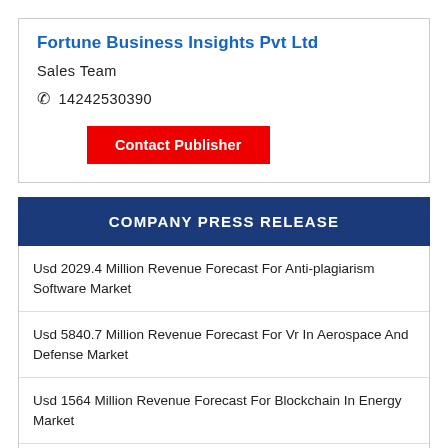Fortune Business Insights Pvt Ltd
Sales Team
📞 14242530390
Contact Publisher
COMPANY PRESS RELEASE
Usd 2029.4 Million Revenue Forecast For Anti-plagiarism Software Market
Usd 5840.7 Million Revenue Forecast For Vr In Aerospace And Defense Market
Usd 1564 Million Revenue Forecast For Blockchain In Energy Market
Usd 1.16 Billion Revenue Forecast For Bio-Preservation...